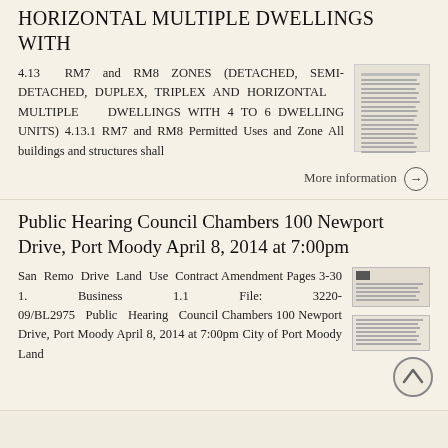HORIZONTAL MULTIPLE DWELLINGS WITH
4.13 RM7 and RM8 ZONES (DETACHED, SEMI-DETACHED, DUPLEX, TRIPLEX AND HORIZONTAL MULTIPLE DWELLINGS WITH 4 TO 6 DWELLING UNITS) 4.13.1 RM7 and RM8 Permitted Uses and Zone All buildings and structures shall
More information →
Public Hearing Council Chambers 100 Newport Drive, Port Moody April 8, 2014 at 7:00pm
San Remo Drive Land Use Contract Amendment Pages 3-30 1. Business 1.1 File: 3220-09/BL2975 Public Hearing Council Chambers 100 Newport Drive, Port Moody April 8, 2014 at 7:00pm City of Port Moody Land